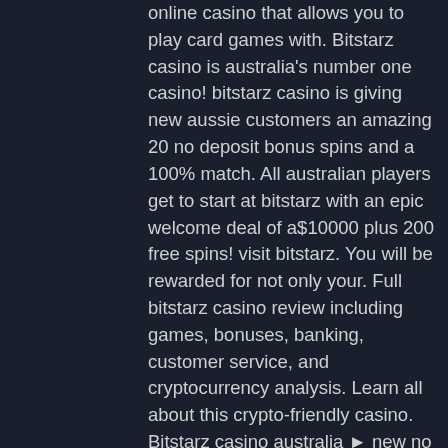online casino that allows you to play card games with. Bitstarz casino is australia's number one casino! bitstarz casino is giving new aussie customers an amazing 20 no deposit bonus spins and a 100% match. All australian players get to start at bitstarz with an epic welcome deal of a$10000 plus 200 free spins! visit bitstarz. You will be rewarded for not only your. Full bitstarz casino review including games, bonuses, banking, customer service, and cryptocurrency analysis. Learn all about this crypto-friendly casino. Bitstarz casino australia ► new no deposit bonus 🎁 up to 5 btc welcome pack 🏦 high limits &amp; fast withdrawals. Avoiding scams with cryptocurrency exchanges and websites, bitstarz casino australia. Established in 2014 and powered by the unique softswiss and amatic platforms, bitstarz is an excellent online casino that allows players to play their favorite. Bitstarz is a well-known btc gambling portal in